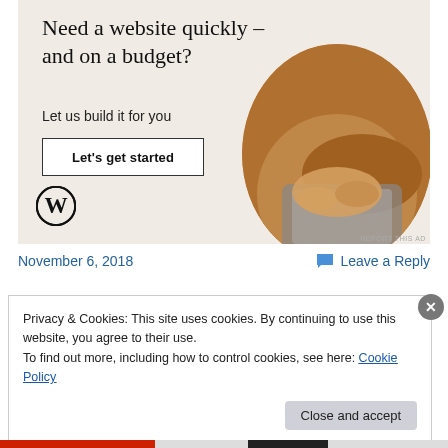[Figure (advertisement): WordPress ad banner with beige/cream background. Title: 'Need a website quickly – and on a budget?'. Subtitle: 'Let us build it for you'. Button: 'Let's get started'. WordPress logo bottom left. Circular photo of person typing on laptop, right side.]
REPORT THIS AD
November 6, 2018
Leave a Reply
Privacy & Cookies: This site uses cookies. By continuing to use this website, you agree to their use.
To find out more, including how to control cookies, see here: Cookie Policy
Close and accept